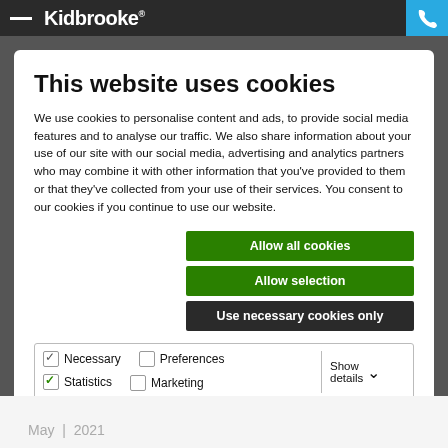Kidbrooke
This website uses cookies
We use cookies to personalise content and ads, to provide social media features and to analyse our traffic. We also share information about your use of our site with our social media, advertising and analytics partners who may combine it with other information that you've provided to them or that they've collected from your use of their services. You consent to our cookies if you continue to use our website.
Allow all cookies
Allow selection
Use necessary cookies only
Necessary  Preferences  Statistics  Marketing  Show details
May  |  2021